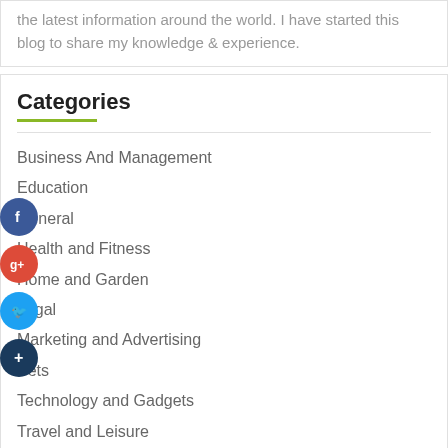the latest information around the world. I have started this blog to share my knowledge & experience.
Categories
Business And Management
Education
General
Health and Fitness
Home and Garden
Legal
Marketing and Advertising
Pets
Technology and Gadgets
Travel and Leisure